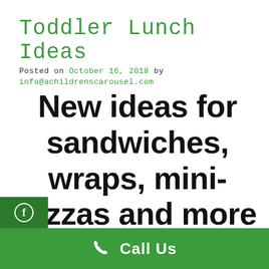Toddler Lunch Ideas
Posted on October 16, 2018 by info@achildrenscarousel.com
New ideas for sandwiches, wraps, mini-pizzas and more tasty lunch recipes for
Call Us